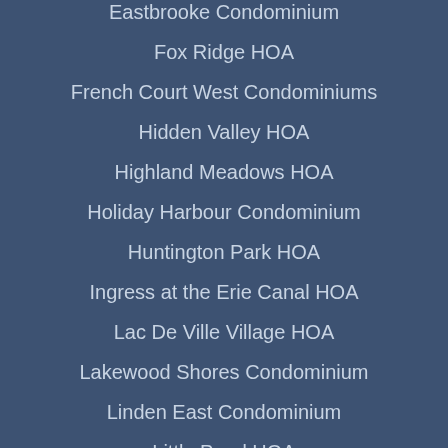Eastbrooke Condominium
Fox Ridge HOA
French Court West Condominiums
Hidden Valley HOA
Highland Meadows HOA
Holiday Harbour Condominium
Huntington Park HOA
Ingress at the Erie Canal HOA
Lac De Ville Village HOA
Lakewood Shores Condominium
Linden East Condominium
Little Pond HOA
Maplehurst Commons HOA